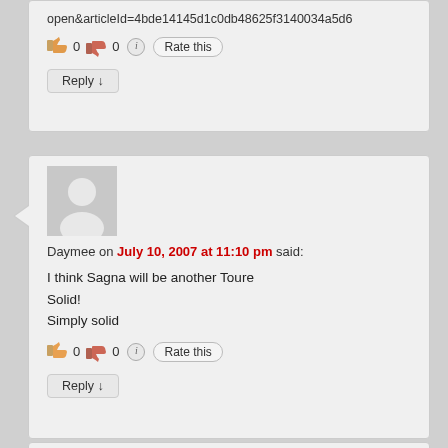open&articleId=4bde14145d1c0db48625f3140034a5d6
0  0  Rate this
Reply ↓
[Figure (photo): Default user avatar placeholder - grey silhouette on grey background]
Daymee on July 10, 2007 at 11:10 pm said:
I think Sagna will be another Toure
Solid!
Simply solid
0  0  Rate this
Reply ↓